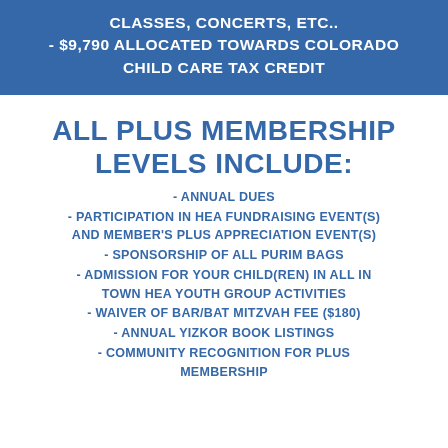CLASSES, CONCERTS, ETC.. - $9,790 ALLOCATED TOWARDS COLORADO CHILD CARE TAX CREDIT
ALL PLUS MEMBERSHIP LEVELS INCLUDE:
- ANNUAL DUES
- PARTICIPATION IN HEA FUNDRAISING EVENT(S) AND MEMBER'S PLUS APPRECIATION EVENT(S)
- SPONSORSHIP OF ALL PURIM BAGS
- ADMISSION FOR YOUR CHILD(REN) IN ALL IN TOWN HEA YOUTH GROUP ACTIVITIES
- WAIVER OF BAR/BAT MITZVAH FEE ($180)
- ANNUAL YIZKOR BOOK LISTINGS
- COMMUNITY RECOGNITION FOR PLUS MEMBERSHIP